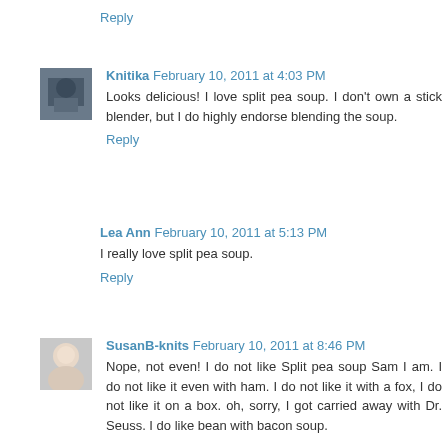Reply
Knitika February 10, 2011 at 4:03 PM
Looks delicious! I love split pea soup. I don't own a stick blender, but I do highly endorse blending the soup.
Reply
Lea Ann February 10, 2011 at 5:13 PM
I really love split pea soup.
Reply
SusanB-knits February 10, 2011 at 8:46 PM
Nope, not even! I do not like Split pea soup Sam I am. I do not like it even with ham. I do not like it with a fox, I do not like it on a box. oh, sorry, I got carried away with Dr. Seuss. I do like bean with bacon soup.